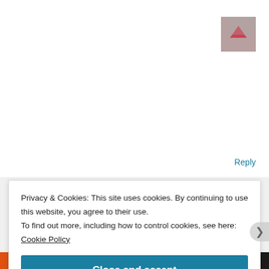libarah
October 26, 2018 at 10:32 am
Sure dear. It's taste really awesome. While pressure cooking don't add water .it will cook in mutton juice taste delicious 😊
★ Liked by 1 person
Reply
Privacy & Cookies: This site uses cookies. By continuing to use this website, you agree to their use.
To find out more, including how to control cookies, see here: Cookie Policy
Close and accept